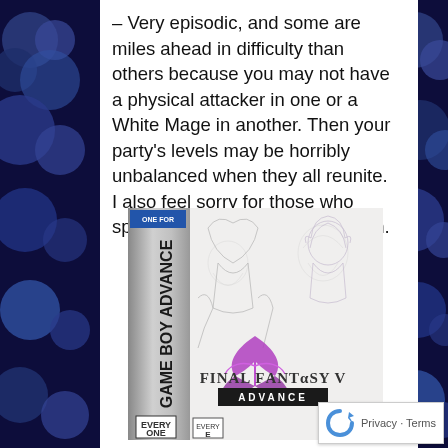– Very episodic, and some are miles ahead in difficulty than others because you may not have a physical attacker in one or a White Mage in another. Then your party's levels may be horribly unbalanced when they all reunite. I also feel sorry for those who spent so much on the Wii version.
[Figure (photo): Game Boy Advance cartridge box art for Final Fantasy V Advance, showing character illustrations in pencil sketch style with the game title logo in purple/pink and a dark banner reading ADVANCE]